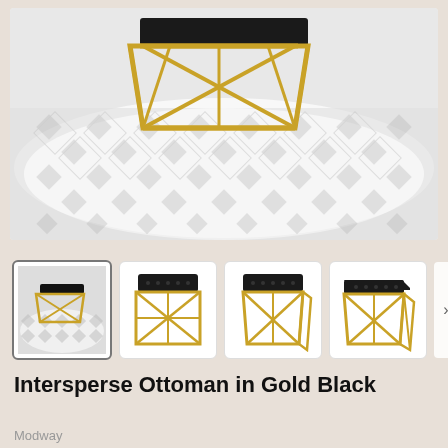[Figure (photo): Close-up photo of a Intersperse Ottoman with black tufted seat and gold geometric frame base, sitting on a gray and white diamond-pattern rug]
[Figure (photo): Thumbnail 1: Ottoman on patterned rug in room setting (selected/active thumbnail)]
[Figure (photo): Thumbnail 2: Front-facing product shot of ottoman with gold frame and black tufted seat on white background]
[Figure (photo): Thumbnail 3: Slightly angled product shot of ottoman with gold frame and black tufted seat on white background]
[Figure (photo): Thumbnail 4: Three-quarter view of ottoman with gold frame and black tufted seat on white background]
Intersperse Ottoman in Gold Black
Modway